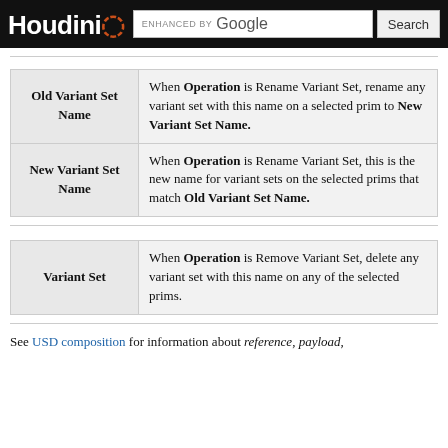Houdini | ENHANCED BY Google | Search
| Parameter | Description |
| --- | --- |
| Old Variant Set Name | When Operation is Rename Variant Set, rename any variant set with this name on a selected prim to New Variant Set Name. |
| New Variant Set Name | When Operation is Rename Variant Set, this is the new name for variant sets on the selected prims that match Old Variant Set Name. |
| Parameter | Description |
| --- | --- |
| Variant Set | When Operation is Remove Variant Set, delete any variant set with this name on any of the selected prims. |
See USD composition for information about reference, payload,